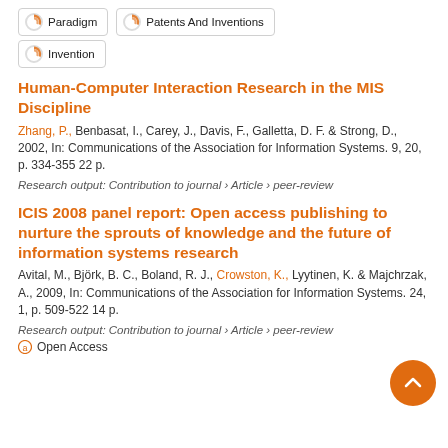Paradigm
Patents And Inventions
Invention
Human-Computer Interaction Research in the MIS Discipline
Zhang, P., Benbasat, I., Carey, J., Davis, F., Galletta, D. F. & Strong, D., 2002, In: Communications of the Association for Information Systems. 9, 20, p. 334-355 22 p.
Research output: Contribution to journal › Article › peer-review
ICIS 2008 panel report: Open access publishing to nurture the sprouts of knowledge and the future of information systems research
Avital, M., Björk, B. C., Boland, R. J., Crowston, K., Lyytinen, K. & Majchrzak, A., 2009, In: Communications of the Association for Information Systems. 24, 1, p. 509-522 14 p.
Research output: Contribution to journal › Article › peer-review
Open Access